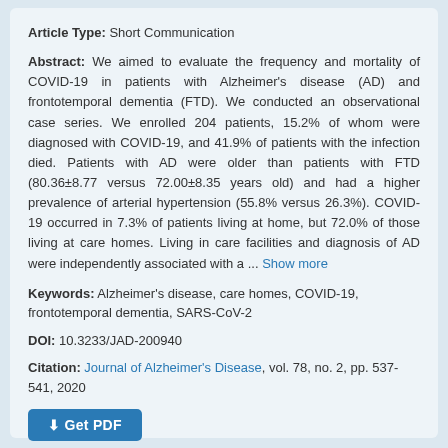Article Type: Short Communication
Abstract: We aimed to evaluate the frequency and mortality of COVID-19 in patients with Alzheimer's disease (AD) and frontotemporal dementia (FTD). We conducted an observational case series. We enrolled 204 patients, 15.2% of whom were diagnosed with COVID-19, and 41.9% of patients with the infection died. Patients with AD were older than patients with FTD (80.36±8.77 versus 72.00±8.35 years old) and had a higher prevalence of arterial hypertension (55.8% versus 26.3%). COVID-19 occurred in 7.3% of patients living at home, but 72.0% of those living at care homes. Living in care facilities and diagnosis of AD were independently associated with a ... Show more
Keywords: Alzheimer's disease, care homes, COVID-19, frontotemporal dementia, SARS-CoV-2
DOI: 10.3233/JAD-200940
Citation: Journal of Alzheimer's Disease, vol. 78, no. 2, pp. 537-541, 2020